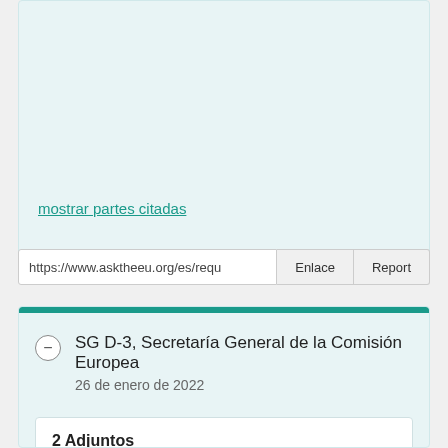mostrar partes citadas
https://www.asktheeu.org/es/requ
Enlace
Report
SG D-3, Secretaría General de la Comisión Europea
26 de enero de 2022
2 Adjuntos